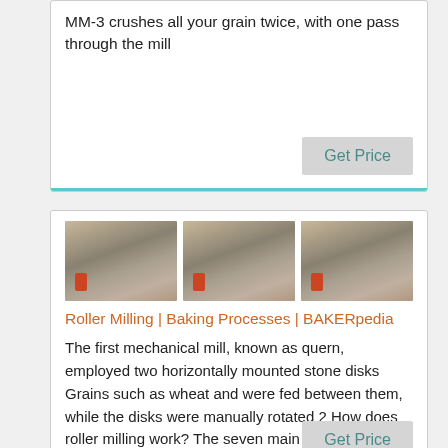MM-3 crushes all your grain twice, with one pass through the mill
Get Price
[Figure (photo): Three photos of industrial milling/roller mill machinery inside a factory]
Roller Milling | Baking Processes | BAKERpedia
The first mechanical mill, known as quern, employed two horizontally mounted stone disks Grains such as wheat and were fed between them, while the disks were manually rotated 2 How does roller milling work? The seven main steps in roller milling are: 3 ,
Get Price